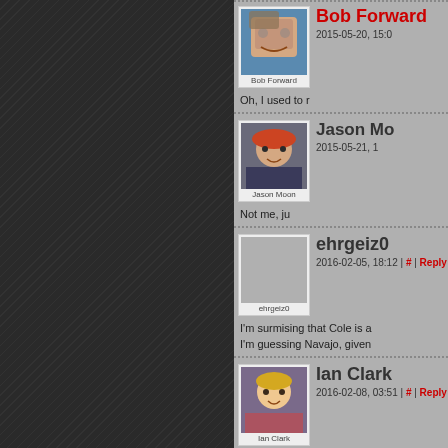Bob Forward — 2015-05-20, 15:0... — Oh, I used to r...
Jason Mo... — 2015-05-21, 1... — Not me, ju...
ehrgeiz0 — 2016-02-05, 18:12 | # | Reply — I'm surmising that Cole is a... — I'm guessing Navajo, given...
Ian Clark — 2016-02-08, 03:51 | # | Reply — WELL! — I knew your name was Forw... — BUT